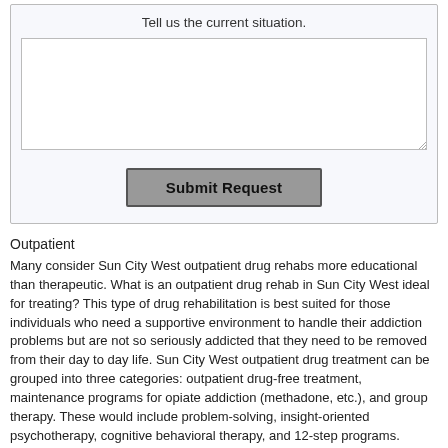Tell us the current situation.
[Figure (screenshot): A textarea input box for entering text, with a resize handle in the bottom-right corner.]
[Figure (screenshot): A Submit Request button with gray background and bold text.]
Outpatient
Many consider Sun City West outpatient drug rehabs more educational than therapeutic. What is an outpatient drug rehab in Sun City West ideal for treating? This type of drug rehabilitation is best suited for those individuals who need a supportive environment to handle their addiction problems but are not so seriously addicted that they need to be removed from their day to day life. Sun City West outpatient drug treatment can be grouped into three categories: outpatient drug-free treatment, maintenance programs for opiate addiction (methadone, etc.), and group therapy. These would include problem-solving, insight-oriented psychotherapy, cognitive behavioral therapy, and 12-step programs.
Outpatient programs in Sun City West and across the United States are often considered less effective than residential programs because the addict still has the opportunity to use drugs. This is because they are not being watched as closely as addicts attending inpatient care. The person in recovery might be